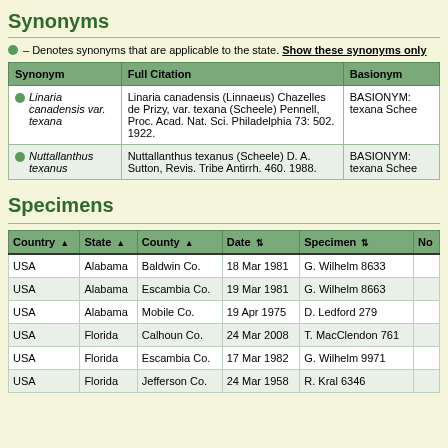Synonyms
● – Denotes synonyms that are applicable to the state. Show these synonyms only
| Synonym | Full Citation | Basionym |
| --- | --- | --- |
| Linaria canadensis var. texana | Linaria canadensis (Linnaeus) Chazelles de Prizy, var. texana (Scheele) Pennell, Proc. Acad. Nat. Sci. Philadelphia 73: 502. 1922. | BASIONYM: texana Schee... |
| Nuttallanthus texanus | Nuttallanthus texanus (Scheele) D. A. Sutton, Revis. Tribe Antirrh. 460. 1988. | BASIONYM: texana Schee... |
Specimens
| Country | State | County | Date | Specimen | No |
| --- | --- | --- | --- | --- | --- |
| USA | Alabama | Baldwin Co. | 18 Mar 1981 | G. Wilhelm 8633 |  |
| USA | Alabama | Escambia Co. | 19 Mar 1981 | G. Wilhelm 8663 |  |
| USA | Alabama | Mobile Co. | 19 Apr 1975 | D. Ledford 279 |  |
| USA | Florida | Calhoun Co. | 24 Mar 2008 | T. MacClendon 761 |  |
| USA | Florida | Escambia Co. | 17 Mar 1982 | G. Wilhelm 9971 |  |
| USA | Florida | Jefferson Co. | 24 Mar 1958 | R. Kral 6346 |  |